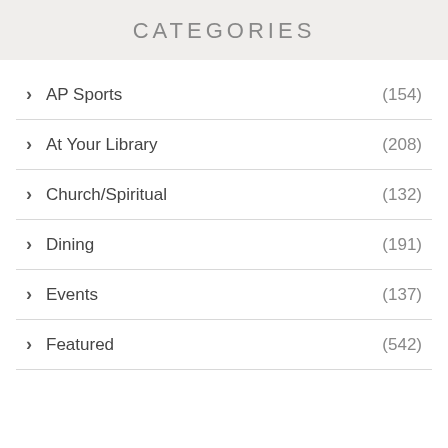CATEGORIES
AP Sports (154)
At Your Library (208)
Church/Spiritual (132)
Dining (191)
Events (137)
Featured (542)